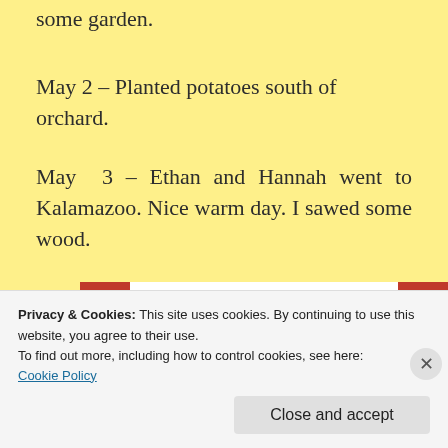some garden.
May 2 – Planted potatoes south of orchard.
May 3 – Ethan and Hannah went to Kalamazoo. Nice warm day. I sawed some wood.
[Figure (photo): A smartphone with the DuckDuckGo browser app showing on screen, placed against an orange/red background. The phone has a notch at top and the DuckDuckGo duck logo is visible on screen.]
Privacy & Cookies: This site uses cookies. By continuing to use this website, you agree to their use.
To find out more, including how to control cookies, see here: Cookie Policy
Close and accept